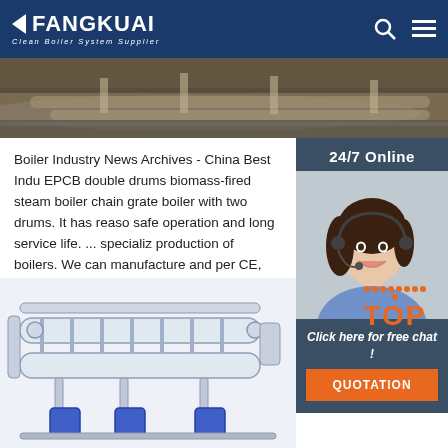FANGKUAI - Clean Boiler System Supplier
[Figure (photo): Industrial boiler pipes and equipment, close-up view]
Boiler Industry News Archives - China Best Indu EPCB double drums biomass-fired steam boiler chain grate boiler with two drums. It has reason safe operation and long service life. ... specializ production of boilers. We can manufacture and per CE, ASME, AS standards, also with these cert
[Figure (photo): Customer service representative wearing headset, 24/7 Online support panel with Click here for free chat and QUOTATION button]
Get Price
[Figure (engineering-diagram): Industrial boiler equipment schematic diagram showing pipes, drums and components]
[Figure (other): TOP badge with orange dots pattern and TOP text]